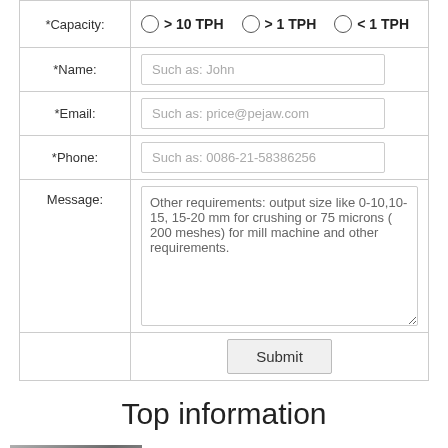| Field | Input |
| --- | --- |
| *Capacity: | > 10 TPH   > 1 TPH   < 1 TPH |
| *Name: | Such as: John |
| *Email: | Such as: price@pejaw.com |
| *Phone: | Such as: 0086-21-58386256 |
| Message: | Other requirements: output size like 0-10,10-15, 15-20 mm for crushing or 75 microns ( 200 meshes) for mill machine and other requirements. |
|  | Submit |
Top information
[Figure (photo): Person in striped clothing, preview image for an article]
Centrifical Gold Concentrators With Crushers